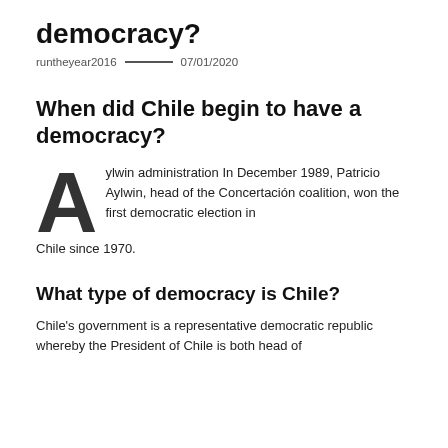democracy?
runtheyear2016 — 07/01/2020
When did Chile begin to have a democracy?
Aylwin administration In December 1989, Patricio Aylwin, head of the Concertación coalition, won the first democratic election in Chile since 1970.
What type of democracy is Chile?
Chile's government is a representative democratic republic whereby the President of Chile is both head of